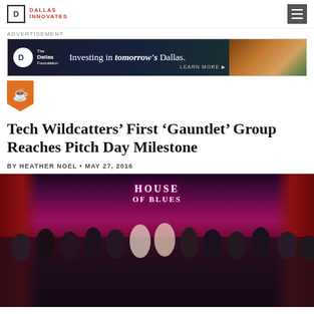DALLAS INNOVATES
ADVERTISEMENT
[Figure (photo): The Dallas Foundation advertisement banner: Investing in tomorrow's Dallas. Learn More.]
[Figure (logo): Orange coffee cup / bookmark badge icon]
Tech Wildcatters’ First ‘Gauntlet’ Group Reaches Pitch Day Milestone
BY HEATHER NOEL • MAY 27, 2016
[Figure (photo): Group photo of Tech Wildcatters participants on stage at House of Blues, with red curtains and neon signage in the background.]